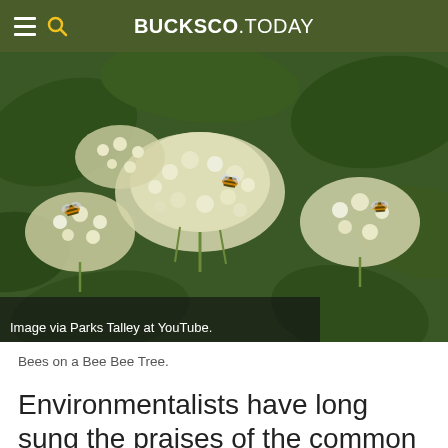BUCKSCO.TODAY
[Figure (photo): Close-up photo of bees on white flower clusters of a Bee Bee Tree, with green leaves in the background. Credit: Image via Parks Talley at YouTube.]
Bees on a Bee Bee Tree.
Environmentalists have long sung the praises of the common bumblebee. And although beekeepers give them a proper environment in wooden hives, even